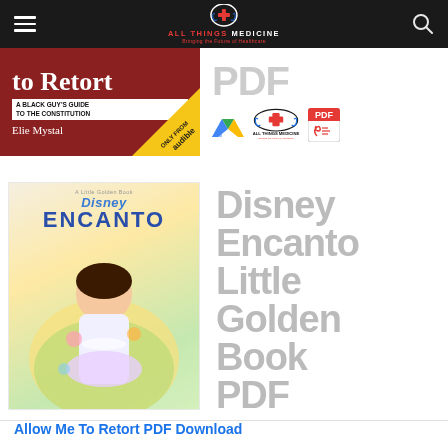ALL THINGS MEDICINE - Bringing the Future of Healthcare
[Figure (screenshot): Book cover partial: 'to Retort - A Black Guy's Guide to the Constitution - Elie Mystal' with Audible banner, alongside Google Drive icon, All Things Medicine logo, and PDF icon]
[Figure (screenshot): Book cover: Disney Encanto Little Golden Book with character illustration, alongside title text 'Disney Encanto Little Golden Book PDF', Google Drive icon, All Things Medicine logo, and PDF icon]
Allow Me To Retort PDF Download